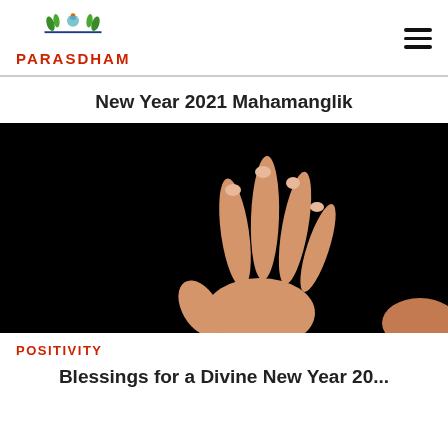PARASDHAM
New Year 2021 Mahamanglik
[Figure (photo): A hand raised against a dark/black background, fingers spread upward, with skin-toned arm visible at lower right. Spiritual/blessing gesture.]
POSITIVITY
Blessings for a Divine New Year 20...